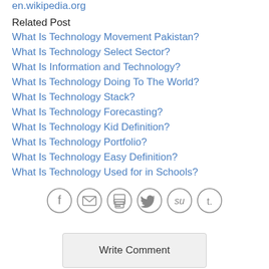en.wikipedia.org
Related Post
What Is Technology Movement Pakistan?
What Is Technology Select Sector?
What Is Information and Technology?
What Is Technology Doing To The World?
What Is Technology Stack?
What Is Technology Forecasting?
What Is Technology Kid Definition?
What Is Technology Portfolio?
What Is Technology Easy Definition?
What Is Technology Used for in Schools?
[Figure (other): Social share icons: Facebook, Email, Print, Twitter, StumbleUpon, Tumblr]
Write Comment